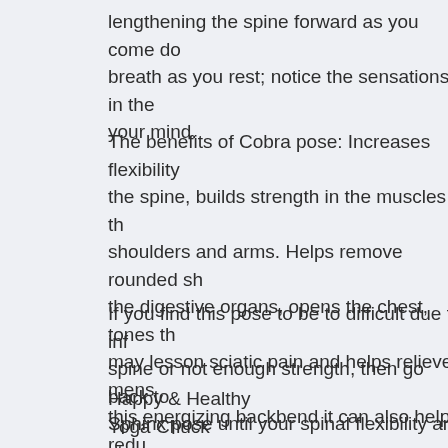lengthening the spine forward as you come do breath as you rest; notice the sensations in the your mind.
The benefits of Cobra pose: Increases flexibility the spine, builds strength in the muscles of the shoulders and arms. Helps remove rounded she the digestive organs, opens the chest, tones th may lesson sciatic pain and helps relieve mens this energizing backbend it can also help redu
If you find this pose to be to difficult due to inf spine or not enough strength, then go back to Sphinx pose until your spinal flexibility and str
Happy & Healthy
Yoga Chuck